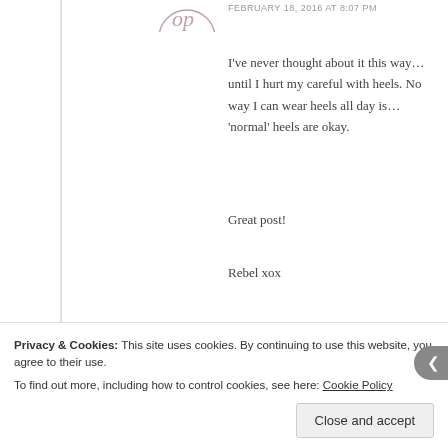FEBRUARY 18, 2016 AT 8:07 PM
I've never thought about it this way… until I hurt my careful with heels. No way I can wear heels all day is… 'normal' heels are okay.

Great post!

Rebel xox
Reply
Velvet Rose
FEBRUARY 19, 2016 AT 12:30 AM
Privacy & Cookies: This site uses cookies. By continuing to use this website, you agree to their use.
To find out more, including how to control cookies, see here: Cookie Policy
Close and accept